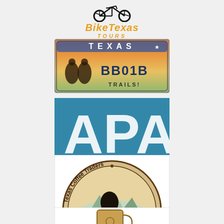[Figure (logo): BikeTexas Tours logo with bicycle icon and orange/gold styled text]
[Figure (logo): Texas license plate style image reading TEXAS BB01B TRAILS!]
[Figure (logo): APA TX logo - blue background with white letters APA and TX]
[Figure (logo): Texas Coffee Traders circular logo with silhouette scene and text We Roast Coffee]
[Figure (logo): Share Life logo with decorative mug/stein]